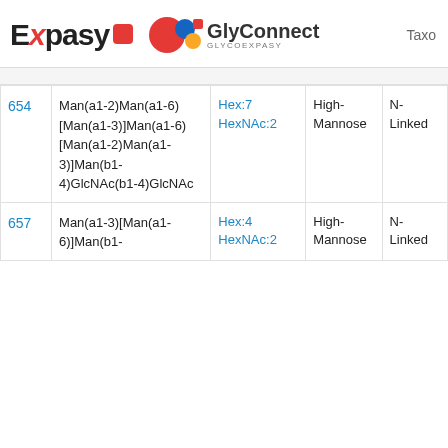Expasy | GlyConnect GLYCOEXPASY | Taxo
| ID | Structure | Composition | Type | Linkage |
| --- | --- | --- | --- | --- |
| 654 | Man(a1-2)Man(a1-6)[Man(a1-3)]Man(a1-6)[Man(a1-2)Man(a1-3)]Man(b1-4)GlcNAc(b1-4)GlcNAc | Hex:7 HexNAc:2 | High-Mannose | N-Linked |
| 657 | Man(a1-3)[Man(a1-6)]Man(b1- | Hex:4 HexNAc:2 | High-Mannose | Linked |